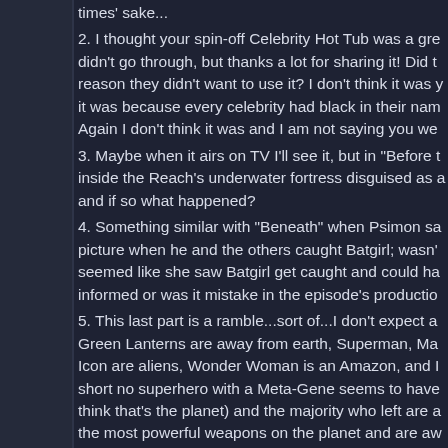times' sake...
2. I thought your spin-off Celebrity Hot Tub was a gre didn't go through, but thanks a lot for sharing it! Did t reason they didn't want to use it? I don't think it was y it was because every celebrity had black in their nam Again I don't think it was and I am not saying you we
3. Maybe when it airs on TV I'll see it, but in "Before t inside the Reach's underwater fortress disguised as a and if so what happened?
4. Something similar with "Beneath" when Psimon sa picture when he and the others caught Batgirl; wasn' seemed like she saw Batgirl get caught and could ha informed or was it mistake in the episode's productio
5. This last part is a ramble...sort of...I don't expect a Green Lanterns are away from earth, Superman, Ma Icon are aliens, Wonder Woman is an Amazon, and I short no superhero with a Meta-Gene seems to have think that's the planet) and the majority who left are a the most powerful weapons on the planet and are aw the strongest woman on earth is no longer present. T